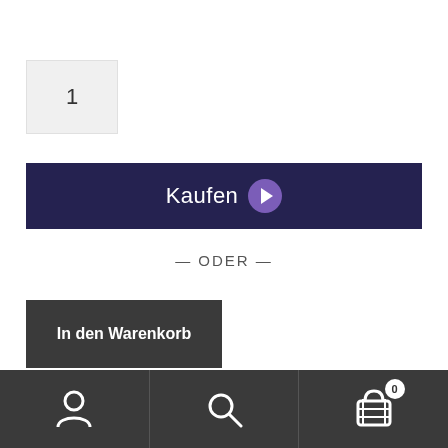1
Kaufen
— ODER —
In den Warenkorb
Kategorie: Fanartikel
[Figure (screenshot): Bottom navigation bar with user icon, search icon, and shopping cart icon with badge showing 0]